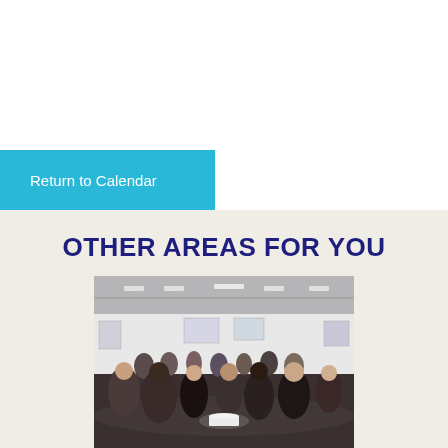Return to Calendar
OTHER AREAS FOR YOU
[Figure (photo): People gathered in a gallery space with white walls and artworks on display, viewed from slightly above. The crowd is socializing at what appears to be an opening reception.]